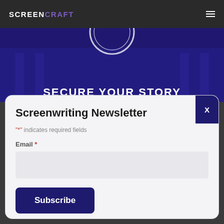SCREENCRAFT
[Figure (illustration): Dark navy blue banner with a partially visible circular seal/stamp at the top (upside down) and large white text 'SECURE YOUR STORY' at the bottom]
Screenwriting Newsletter
"*" indicates required fields
Email *
Subscribe